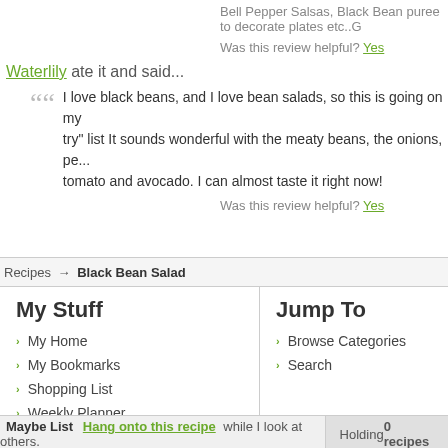Bell Pepper Salsas, Black Bean puree to decorate plates etc..G
Was this review helpful? Yes
Waterlily ate it and said...
I love black beans, and I love bean salads, so this is going on my "must try" list It sounds wonderful with the meaty beans, the onions, pe... tomato and avocado. I can almost taste it right now!
Was this review helpful? Yes
Recipes → Black Bean Salad
My Stuff
My Home
My Bookmarks
Shopping List
Weekly Planner
Jump To
Browse Categories
Search
Maybe List Hang onto this recipe while I look at others. Holding 0 recipes